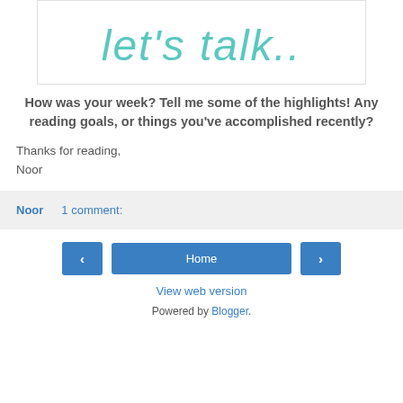[Figure (illustration): Decorative image with cursive teal text reading "let's talk.." on a white background with a light border]
How was your week? Tell me some of the highlights! Any reading goals, or things you've accomplished recently?
Thanks for reading,
Noor
Noor   1 comment:
Home
View web version
Powered by Blogger.